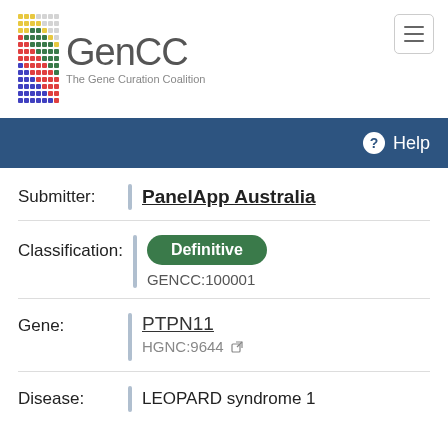[Figure (logo): GenCC - The Gene Curation Coalition logo with colorful dot grid and text]
Help
Submitter: PanelApp Australia
Classification: Definitive GENCC:100001
Gene: PTPN11 HGNC:9644
Disease: LEOPARD syndrome 1